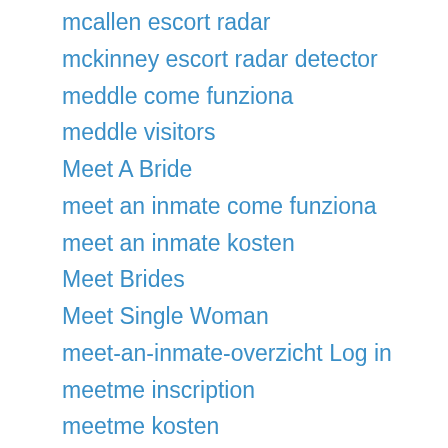mcallen escort radar
mckinney escort radar detector
meddle come funziona
meddle visitors
Meet A Bride
meet an inmate come funziona
meet an inmate kosten
Meet Brides
Meet Single Woman
meet-an-inmate-overzicht Log in
meetme inscription
meetme kosten
meetme sign in
meetmindful italia
meetmindful inceleme yorumlar